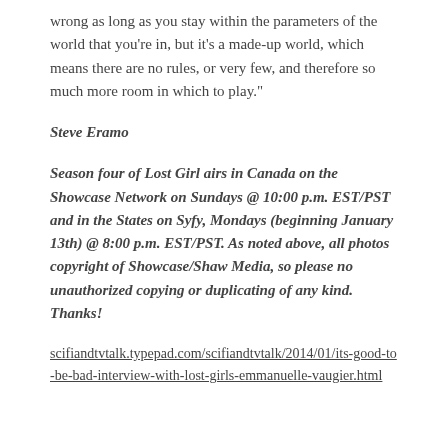wrong as long as you stay within the parameters of the world that you're in, but it's a made-up world, which means there are no rules, or very few, and therefore so much more room in which to play."
Steve Eramo
Season four of Lost Girl airs in Canada on the Showcase Network on Sundays @ 10:00 p.m. EST/PST and in the States on Syfy, Mondays (beginning January 13th) @ 8:00 p.m. EST/PST. As noted above, all photos copyright of Showcase/Shaw Media, so please no unauthorized copying or duplicating of any kind. Thanks!
scifiandtvtalk.typepad.com/scifiandtvtalk/2014/01/its-good-to-be-bad-interview-with-lost-girls-emmanuelle-vaugier.html